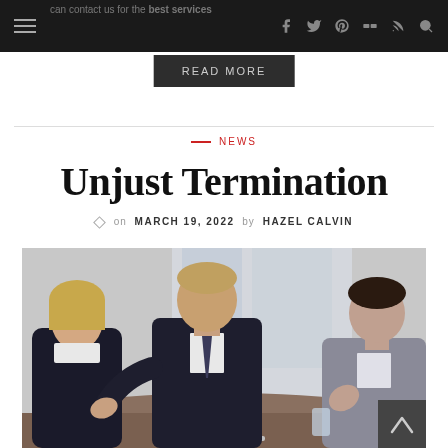can contact us for the best services
READ MORE
NEWS
Unjust Termination
on MARCH 19, 2022  by  HAZEL CALVIN
[Figure (photo): Three business professionals in a meeting: a blonde woman in a black blazer on the left, a middle-aged man in a suit gesturing while talking in the center, and a younger man in a grey suit on the right, with a laptop visible in the foreground]